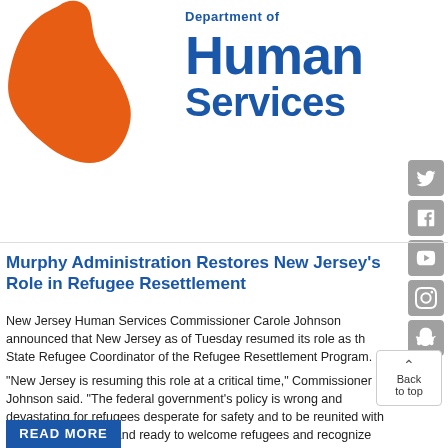[Figure (logo): New Jersey Department of Human Services logo with orange NJ state silhouette on the left and bold blue 'Human Services' text on the right]
[Figure (other): Social media icons (Twitter, Facebook, YouTube, Instagram, Snapchat) stacked vertically on the right side]
Murphy Administration Restores New Jersey's Role in Refugee Resettlement
New Jersey Human Services Commissioner Carole Johnson announced that New Jersey as of Tuesday resumed its role as the State Refugee Coordinator of the Refugee Resettlement Program.
"New Jersey is resuming this role at a critical time," Commissioner Johnson said. "The federal government's policy is wrong and devastating for refugees desperate for safety and to be reunited with their families. We stand ready to welcome refugees and recognize their contribution to our state."
READ MORE